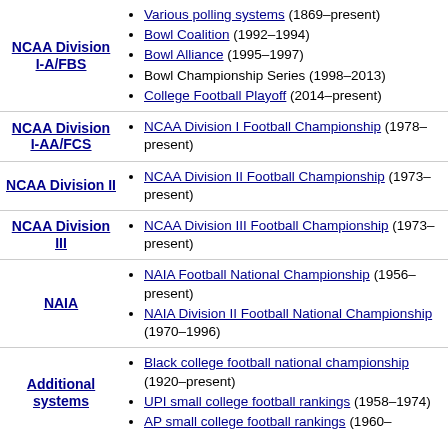NCAA Division I-A/FBS
Various polling systems (1869–present)
Bowl Coalition (1992–1994)
Bowl Alliance (1995–1997)
Bowl Championship Series (1998–2013)
College Football Playoff (2014–present)
NCAA Division I-AA/FCS
NCAA Division I Football Championship (1978–present)
NCAA Division II
NCAA Division II Football Championship (1973–present)
NCAA Division III
NCAA Division III Football Championship (1973–present)
NAIA
NAIA Football National Championship (1956–present)
NAIA Division II Football National Championship (1970–1996)
Additional systems
Black college football national championship (1920–present)
UPI small college football rankings (1958–1974)
AP small college football rankings (1960–